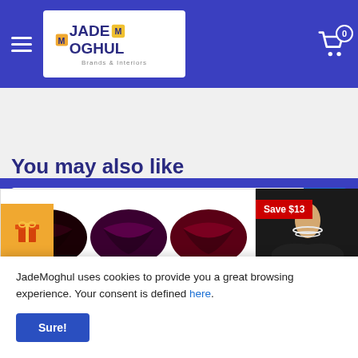[Figure (screenshot): JadeMoghul e-commerce website header with hamburger menu, logo, and cart icon showing 0 items, on blue background]
[Figure (screenshot): Search bar with 'Search...' placeholder and blue search button with magnifying glass icon]
You may also like
[Figure (photo): Product card showing dark lip color swatches in dark red, purple, and maroon shades with text 'wow!! amazing colors!!' and black and brown lipstick tubes below. Orange gift badge in top-left corner.]
[Figure (photo): Partial product card showing woman in black sequined outfit with pearl necklace, with 'Save $13' red badge]
JadeMoghul uses cookies to provide you a great browsing experience. Your consent is defined here.
Sure!